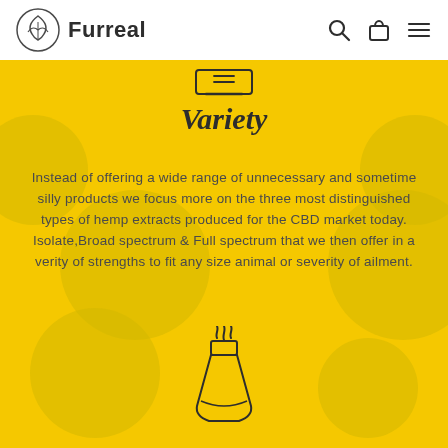Furreal
[Figure (illustration): Tablet/clipboard icon at top of yellow section]
Variety
Instead of offering a wide range of unnecessary and sometime silly products we focus more on the three most distinguished types of hemp extracts produced for the CBD market today. Isolate,Broad spectrum & Full spectrum that we then offer in a verity of strengths to fit any size animal or severity of ailment.
[Figure (illustration): Chemistry flask/beaker icon with steam at bottom of yellow section]